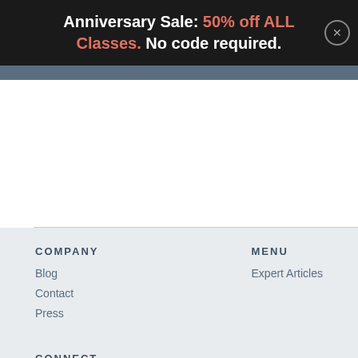Anniversary Sale: 50% off ALL Classes. No code required.
COMPANY
Blog
Contact
Press
MENU
Expert Articles
CONNECT